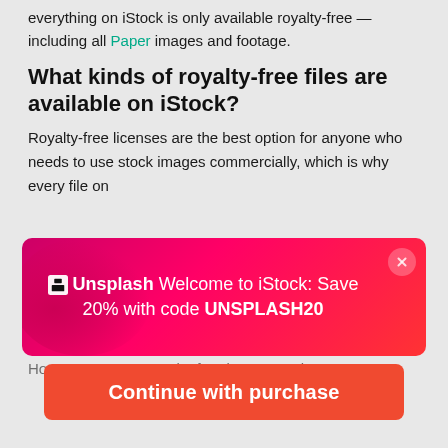everything on iStock is only available royalty-free — including all Paper images and footage.
What kinds of royalty-free files are available on iStock?
Royalty-free licenses are the best option for anyone who needs to use stock images commercially, which is why every file on
[Figure (screenshot): Unsplash promotional banner overlay: magenta/pink gradient background with Unsplash logo and text 'Welcome to iStock: Save 20% with code UNSPLASH20', close button top right]
How can you use royalty-free images and
$12 | 1 credit
Continue with purchase